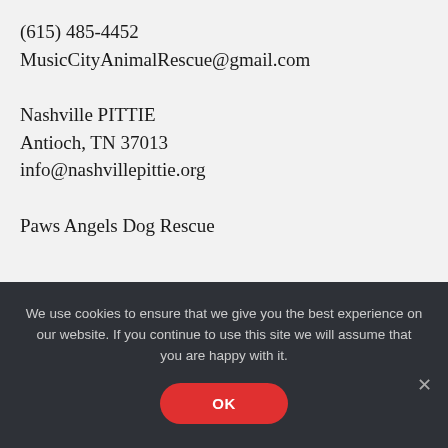(615) 485-4452
MusicCityAnimalRescue@gmail.com
Nashville PITTIE
Antioch, TN 37013
info@nashvillepittie.org
Paws Angels Dog Rescue
We use cookies to ensure that we give you the best experience on our website. If you continue to use this site we will assume that you are happy with it.
OK